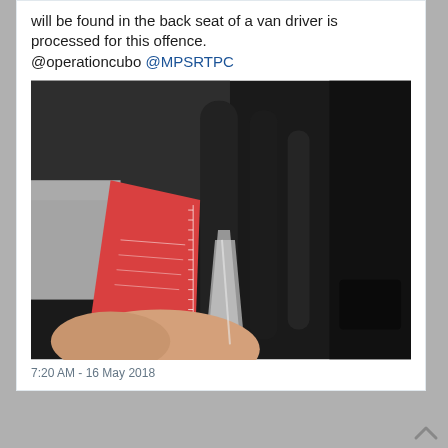will be found in the back seat of a van driver is processed for this offence. @operationcubo @MPSRTPC
[Figure (photo): Photo of a hand holding a red card/ruler next to a large knife in a black tray or case. The knife has a dark handle and a silver blade. Multiple dark blades or implements are visible in the black case.]
7:20 AM - 16 May 2018